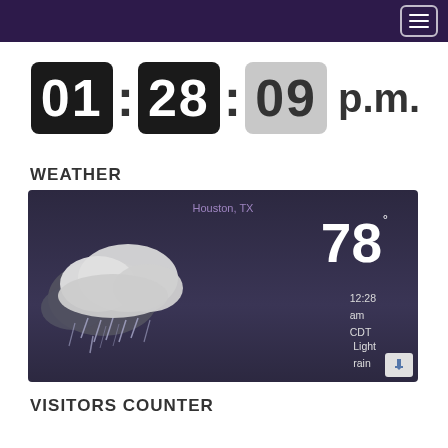[Figure (screenshot): Digital clock display showing 01:28:09 p.m. with dark flip-clock style digits]
WEATHER
[Figure (screenshot): Weather widget showing Houston, TX with 78 degrees, 12:28 am CDT, Light rain, with cloud and rain illustration on dark background]
VISITORS COUNTER